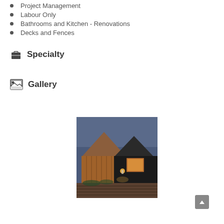Project Management
Labour Only
Bathrooms and Kitchen - Renovations
Decks and Fences
Specialty
Gallery
[Figure (photo): Exterior photo of a modern house with wooden cladding and peaked rooflines, photographed at dusk with warm lighting from wall sconces]
[Figure (other): Scroll to top button in bottom right corner]